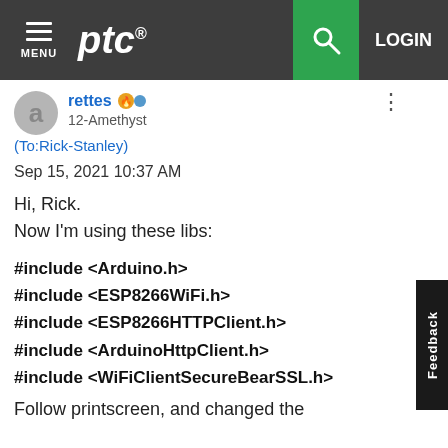MENU | ptc® | [search] | LOGIN
rettes 12-Amethyst
(To:Rick-Stanley)
Sep 15, 2021 10:37 AM
Hi, Rick.
Now I'm using these libs:
#include <Arduino.h>
#include <ESP8266WiFi.h>
#include <ESP8266HTTPClient.h>
#include <ArduinoHttpClient.h>
#include <WiFiClientSecureBearSSL.h>
Follow printscreen, and changed the